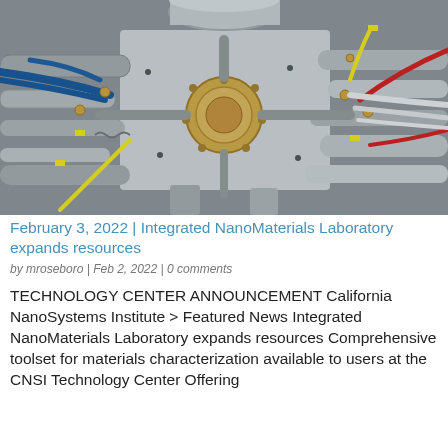[Figure (photo): Close-up photograph of a complex scientific instrument — a vacuum chamber or molecular beam epitaxy system — showing stainless steel flanges, blue and yellow cables, gold-colored fittings, and multiple cylindrical ports and tubes arranged around a central circular flange.]
February 3, 2022 | Integrated NanoMaterials Laboratory expands resources
by mroseboro | Feb 2, 2022 | 0 comments
TECHNOLOGY CENTER ANNOUNCEMENT California NanoSystems Institute > Featured News Integrated NanoMaterials Laboratory expands resources Comprehensive toolset for materials characterization available to users at the CNSI Technology Center Offering